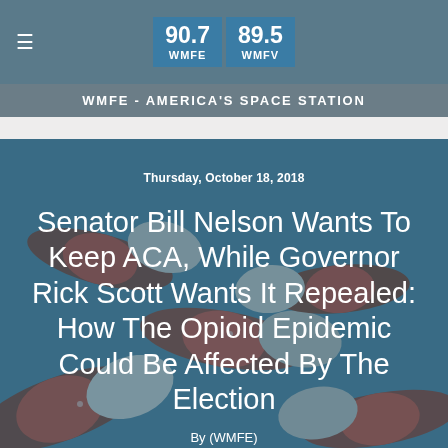[Figure (logo): WMFE 90.7 and WMFV 89.5 radio station logo with two blue boxes]
WMFE - AMERICA'S SPACE STATION
[Figure (photo): Background photo of red and white opioid capsule pills scattered on a surface, overlaid with teal/blue color tint]
Thursday, October 18, 2018
Senator Bill Nelson Wants To Keep ACA, While Governor Rick Scott Wants It Repealed: How The Opioid Epidemic Could Be Affected By The Election
By [author name] (WMFE)